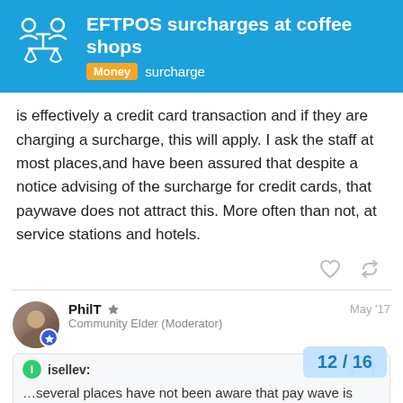EFTPOS surcharges at coffee shops — Money  surcharge
is effectively a credit card transaction and if they are charging a surcharge, this will apply. I ask the staff at most places,and have been assured that despite a notice advising of the surcharge for credit cards, that paywave does not attract this. More often than not, at service stations and hotels.
PhilT  Community Elder (Moderator)  May '17
isellev: …several places have not been aware that pay wave is effectively a credit card transaction and if they are charging a surcharge, this will apply…I ask the st places,and have been assured that des advising of the surcharge for credit car
12 / 16